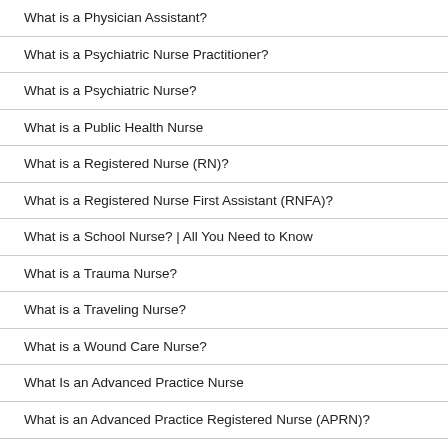What is a Physician Assistant?
What is a Psychiatric Nurse Practitioner?
What is a Psychiatric Nurse?
What is a Public Health Nurse
What is a Registered Nurse (RN)?
What is a Registered Nurse First Assistant (RNFA)?
What is a School Nurse? | All You Need to Know
What is a Trauma Nurse?
What is a Traveling Nurse?
What is a Wound Care Nurse?
What Is an Advanced Practice Nurse
What is an Advanced Practice Registered Nurse (APRN)?
What is an ER Nurse?